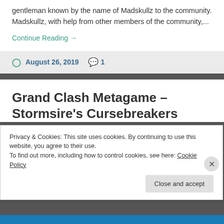gentleman known by the name of Madskullz to the community. Madskullz, with help from other members of the community,...
Continue Reading →
August 26, 2019  1
Grand Clash Metagame – Stormsire's Cursebreakers
Privacy & Cookies: This site uses cookies. By continuing to use this website, you agree to their use.
To find out more, including how to control cookies, see here: Cookie Policy
Close and accept